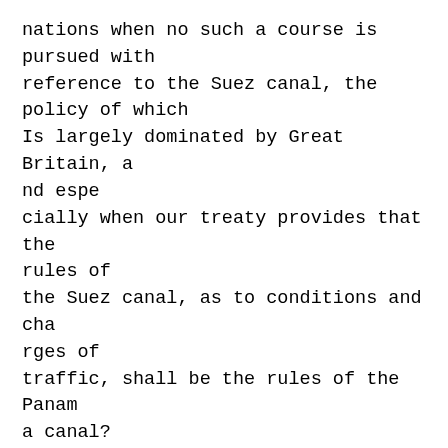nations when no such a course is pursued with
reference to the Suez canal, the policy of which
Is largely dominated by Great Britain, and espe
cially when our treaty provides that the rules of
the Suez canal, as to conditions and charges of
traffic, shall be the rules of the Panama canal?
Does it not stand to Teason that in such portions
ofthe world where other nations may use either
of these canals they will prefer Suez to Panama?
"Mr Speaker, there is a much greater por